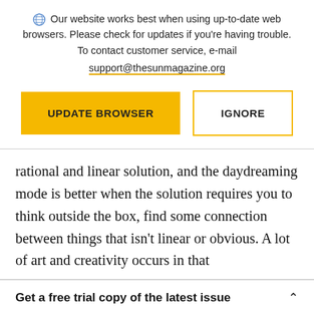Our website works best when using up-to-date web browsers. Please check for updates if you're having trouble. To contact customer service, e-mail support@thesunmagazine.org
[Figure (other): Two buttons: a yellow filled button labeled UPDATE BROWSER and a yellow-outlined white button labeled IGNORE]
rational and linear solution, and the daydreaming mode is better when the solution requires you to think outside the box, find some connection between things that isn't linear or obvious. A lot of art and creativity occurs in that
Get a free trial copy of the latest issue